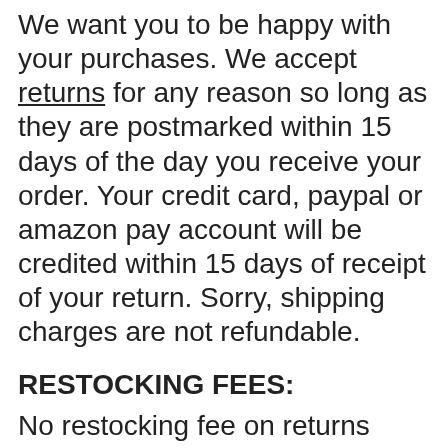We want you to be happy with your purchases. We accept returns for any reason so long as they are postmarked within 15 days of the day you receive your order. Your credit card, paypal or amazon pay account will be credited within 15 days of receipt of your return. Sorry, shipping charges are not refundable.
RESTOCKING FEES:
No restocking fee on returns under $200
Returns Exceeding $200 will be subject to a 15% restocking fee.
Returns exceeding $400 will be subject to a 30% restocking fee.